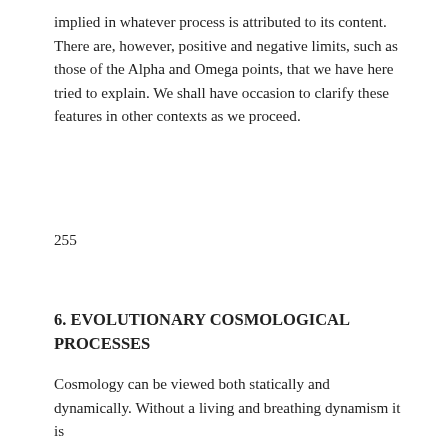implied in whatever process is attributed to its content. There are, however, positive and negative limits, such as those of the Alpha and Omega points, that we have here tried to explain. We shall have occasion to clarify these features in other contexts as we proceed.
255
6. EVOLUTIONARY COSMOLOGICAL PROCESSES
Cosmology can be viewed both statically and dynamically. Without a living and breathing dynamism it is